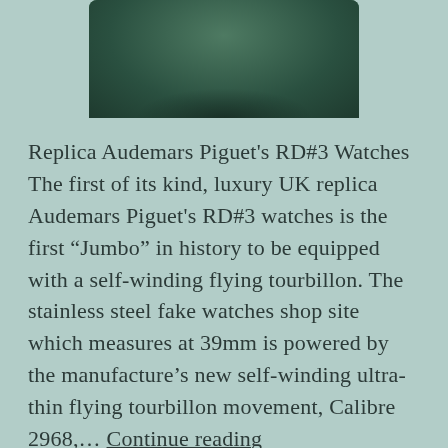[Figure (photo): Partial image of a dark green Audemars Piguet watch case, cropped at the bottom of the image area]
Replica Audemars Piguet's RD#3 Watches The first of its kind, luxury UK replica Audemars Piguet's RD#3 watches is the first “Jumbo” in history to be equipped with a self-winding flying tourbillon. The stainless steel fake watches shop site which measures at 39mm is powered by the manufacture’s new self-winding ultra-thin flying tourbillon movement, Calibre 2968,… Continue reading
Published 7 April 2022